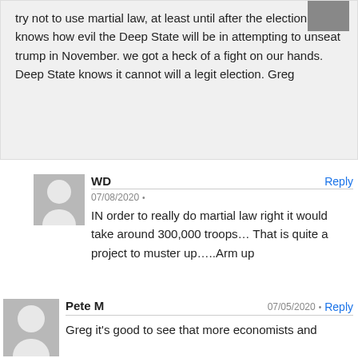The president is going to try not to use martial law, at least until after the election. Who knows how evil the Deep State will be in attempting to unseat trump in November. we got a heck of a fight on our hands. Deep State knows it cannot will a legit election. Greg
WD
07/08/2020
Reply
IN order to really do martial law right it would take around 300,000 troops… That is quite a project to muster up…..Arm up
Pete M
07/05/2020
Reply
Greg it's good to see that more economists and